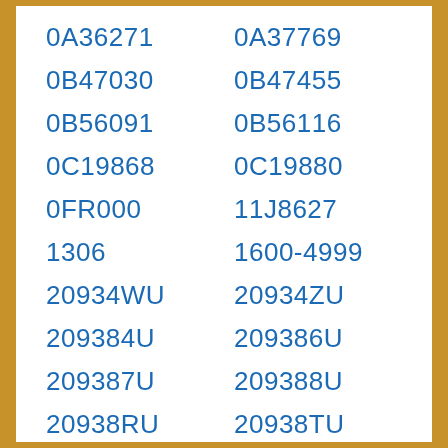0A36271
0A37769
0B47030
0B47455
0B56091
0B56116
0C19868
0C19880
0FR000
11J8627
1306
1600-4999
20934WU
20934ZU
209384U
209386U
209387U
209388U
20938RU
20938TU
2093B7U
209942U
209945U
209948U
20994CU
20994EU